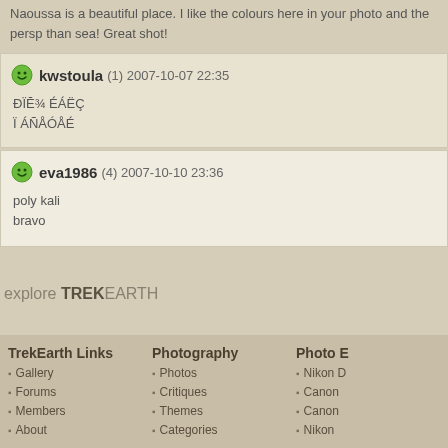Naoussa is a beautiful place. I like the colours here in your photo and the persp than sea! Great shot!
kwstoula (1) 2007-10-07 22:35
ĐÏĒ¾ ÉÁËÇ
Ï ÁÑÅÓÅÉ
eva1986 (4) 2007-10-10 23:36
poly kali
bravo
explore TREKEARTH
TrekEarth Links
Gallery
Forums
Members
About
Photography
Photos
Critiques
Themes
Categories
Photo E
Nikon D
Canon
Canon
Nikon